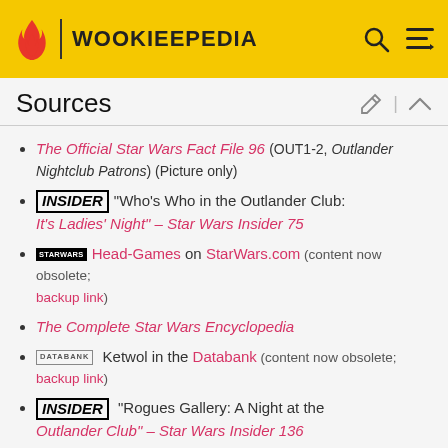WOOKIEEPEDIA
Sources
The Official Star Wars Fact File 96 (OUT1-2, Outlander Nightclub Patrons) (Picture only)
INSIDER "Who's Who in the Outlander Club: It's Ladies' Night" – Star Wars Insider 75
Head-Games on StarWars.com (content now obsolete; backup link)
The Complete Star Wars Encyclopedia
DATABANK Ketwol in the Databank (content now obsolete; backup link)
INSIDER "Rogues Gallery: A Night at the Outlander Club" – Star Wars Insider 136
Notes and references